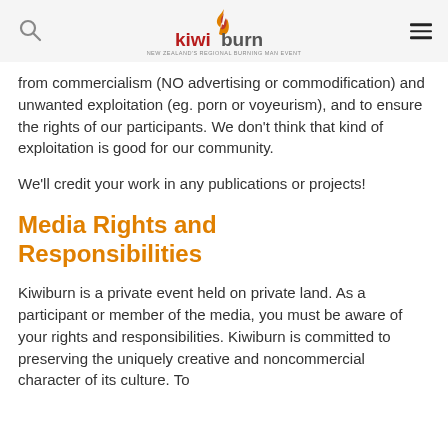kiwiburn [logo]
from commercialism (NO advertising or commodification) and unwanted exploitation (eg. porn or voyeurism), and to ensure the rights of our participants. We don't think that kind of exploitation is good for our community.
We'll credit your work in any publications or projects!
Media Rights and Responsibilities
Kiwiburn is a private event held on private land. As a participant or member of the media, you must be aware of your rights and responsibilities. Kiwiburn is committed to preserving the uniquely creative and noncommercial character of its culture. To